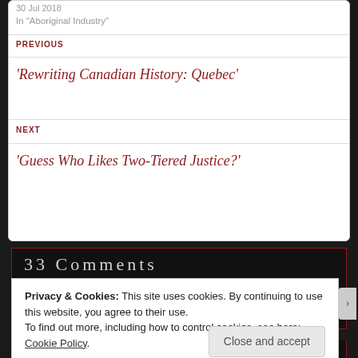30 Jul 2018
In "Aboriginal Industry"
PREVIOUS
‘Rewriting Canadian History: Quebec’
NEXT
‘Guess Who Likes Two-Tiered Justice?’
33 Comments
Privacy & Cookies: This site uses cookies. By continuing to use this website, you agree to their use.
To find out more, including how to control cookies, see here: Cookie Policy
Close and accept